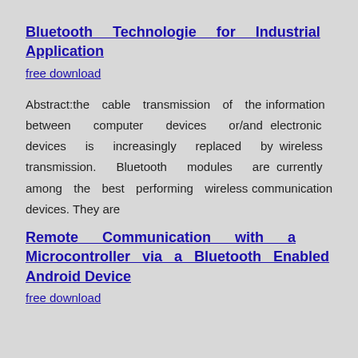Bluetooth Technologie for Industrial Application
free download
Abstract:the cable transmission of the information between computer devices or/and electronic devices is increasingly replaced by wireless transmission. Bluetooth modules are currently among the best performing wireless communication devices. They are
Remote Communication with a Microcontroller via a Bluetooth Enabled Android Device
free download